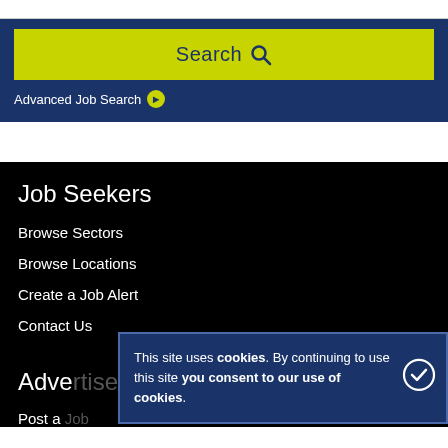[Figure (screenshot): Search button with yellow/lime background and magnifying glass icon]
Advanced Job Search →
Job Seekers
Browse Sectors
Browse Locations
Create a Job Alert
Contact Us
Adve[rtisers]
Post a [Job]
This site uses cookies. By continuing to use this site you consent to our use of cookies.